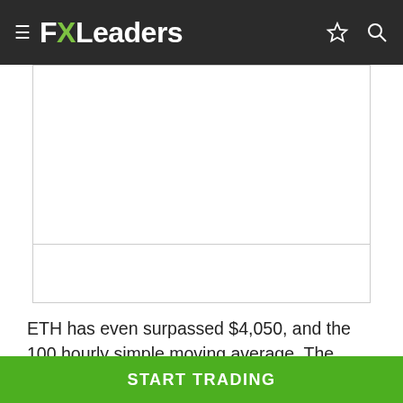FXLeaders
[Figure (other): Advertisement placeholder area with two stacked blank white boxes separated by a horizontal line, bordered with light gray outline]
ETH has even surpassed $4,050, and the 100 hourly simple moving average. The gains, however, were limited and short-lived, as the price fell to an intraday low of 3,888.12. If Ethereum does not begin a new upward trend over $4,040, it may decline. To the downside, $3,950 serves as an initial support level. Significant support is building near the $3,920 level and the 100 hourly simple moving average. If the price
START TRADING